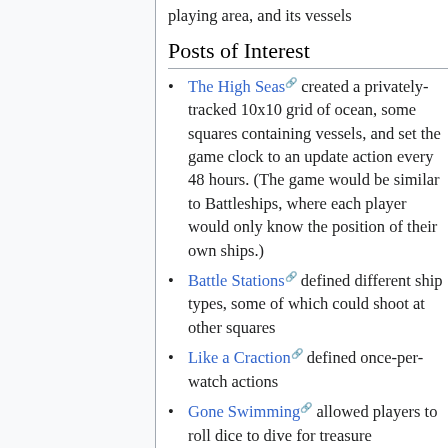playing area, and its vessels
Posts of Interest
The High Seas created a privately-tracked 10x10 grid of ocean, some squares containing vessels, and set the game clock to an update action every 48 hours. (The game would be similar to Battleships, where each player would only know the position of their own ships.)
Battle Stations defined different ship types, some of which could shoot at other squares
Like a Craction defined once-per-watch actions
Gone Swimming allowed players to roll dice to dive for treasure
Enemy Ship Sighted! gave ships armour ratings, causing them to sink...